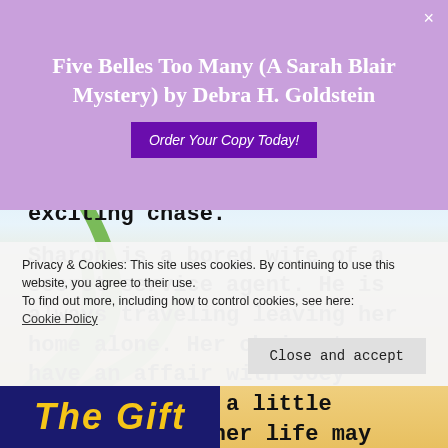Five Belles Too Many (A Sarah Blair Mystery) by Debra H. Goldstein  Order Your Copy Today!
exciting chase.
Sharon is a bored wife of a secret service agent. He is always traveling leaving her home alone. Her choice to have an affair with Joey Palermo to add a little excitement to her life may cost her dearly.
Privacy & Cookies: This site uses cookies. By continuing to use this website, you agree to their use.
To find out more, including how to control cookies, see here: Cookie Policy
Close and accept